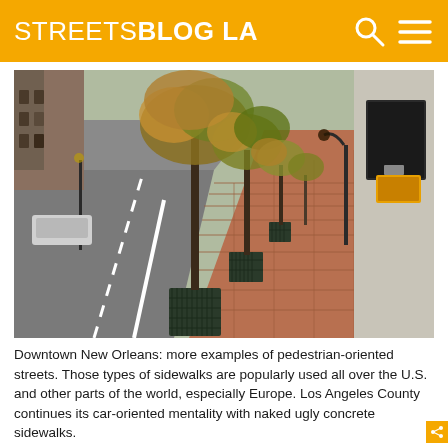STREETSBLOG LA
[Figure (photo): Downtown New Orleans street with brick sidewalks, tree grates, and street trees lining the sidewalk next to historic buildings and a road.]
Downtown New Orleans: more examples of pedestrian-oriented streets. Those types of sidewalks are popularly used all over the U.S. and other parts of the world, especially Europe. Los Angeles County continues its car-oriented mentality with naked ugly concrete sidewalks.